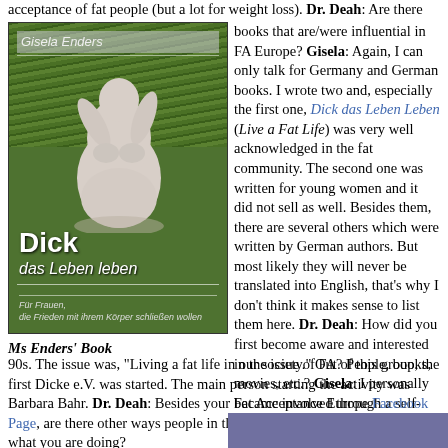acceptance of fat people (but a lot for weight loss). Dr. Deah: Are there any books that are/were influential in FA Europe? Gisela: Again, I can only talk for Germany and German books. I wrote two and, especially the first one, Dick das Leben Leben (Live a Fat Life) was very well acknowledged in the fat community. The second one was written for young women and it did not sell as well. Besides them, there are several others which were written by German authors. But most likely they will never be translated into English, that’s why I don't think it makes sense to list them here. Dr. Deah: How did you first become aware and interested in the issue of FA? People, books, movies, etc.? Gisela: I personally became involved through a self-experiencing group in the early 90s. The issue was, “Living a fat life in our society.” Out of this group, the first Dicke e.V. was started. The main person starting the activity was Barbara Bahr. Dr. Deah: Besides your Fat Acceptance Europe Facebook Page, are there other ways people in the States can find out more about what you are doing? Gisela: Yes, we do have.
[Figure (photo): Cover of book 'Dick das Leben leben' by Gisela Enders showing a white/cream colored sculpture of a full-figured female form lying on grass]
Ms Enders' Book